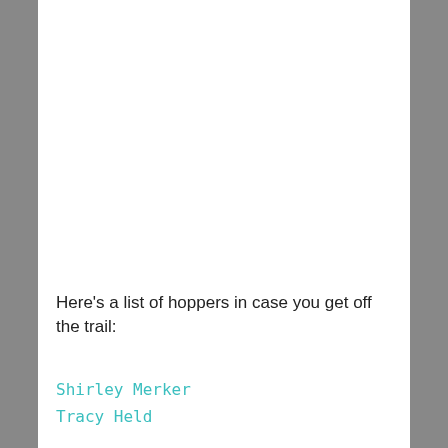Here’s a list of hoppers in case you get off the trail:
Shirley Merker
Tracy Held